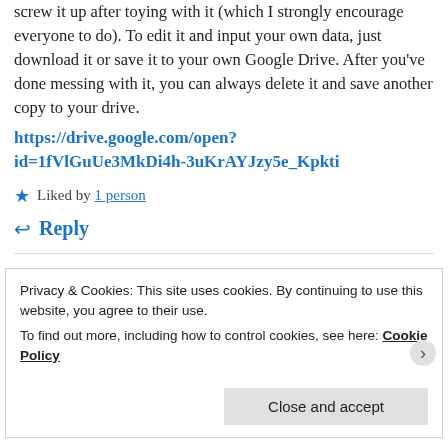screw it up after toying with it (which I strongly encourage everyone to do). To edit it and input your own data, just download it or save it to your own Google Drive. After you've done messing with it, you can always delete it and save another copy to your drive.
https://drive.google.com/open?id=1fVlGuUe3MkDi4h-3uKrAYJzy5e_Kpkti
★ Liked by 1 person
↩ Reply
Privacy & Cookies: This site uses cookies. By continuing to use this website, you agree to their use.
To find out more, including how to control cookies, see here: Cookie Policy